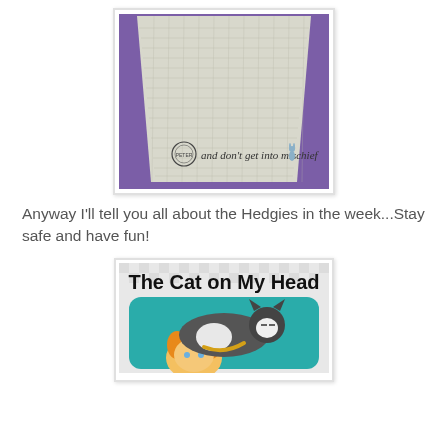[Figure (photo): Photo of a white waffle-weave cloth or towel laid on a purple background. The bottom of the cloth has a circular logo/stamp and cursive text reading 'and don't get into mischief' with a small illustrated figure (Peter Rabbit) at the right side.]
Anyway I'll tell you all about the Hedgies in the week...Stay safe and have fun!
[Figure (illustration): Logo/banner image for 'The Cat on My Head' showing bold black text on a checkered light background at top, with a teal rounded rectangle below containing an illustration of a grey and white cat resting on top of a cartoon child's head.]